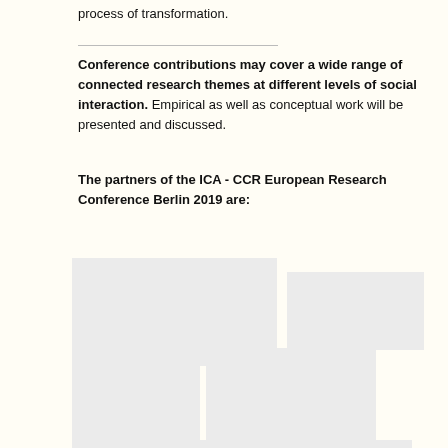process of transformation.
Conference contributions may cover a wide range of connected research themes at different levels of social interaction. Empirical as well as conceptual work will be presented and discussed.
The partners of the ICA - CCR European Research Conference Berlin 2019 are:
[Figure (logo): Multiple partner organization logo placeholders arranged in a grid layout]